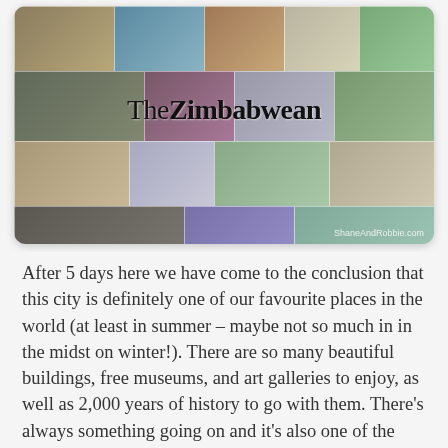[Figure (photo): A collage of Zimbabwean banknotes with 'The Zimbabwean' text overlaid on top. The banknotes are arranged in a grid pattern showing various denominations with colorful designs. The image has a watermark 'ShaneAndRobbie.com' in the bottom right corner.]
After 5 days here we have come to the conclusion that this city is definitely one of our favourite places in the world (at least in summer – maybe not so much in in the midst on winter!). There are so many beautiful buildings, free museums, and art galleries to enjoy, as well as 2,000 years of history to go with them. There's always something going on and it's also one of the most international cities